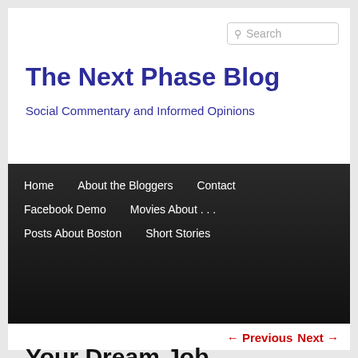Search
The Next Phase Blog
Social Commentary and Informed Opinions
Home
About the Bloggers
Contact
Facebook Demo
Movies About . . .
Posts About Boston
Short Stories
← Previous   Next →
Your Dream Job